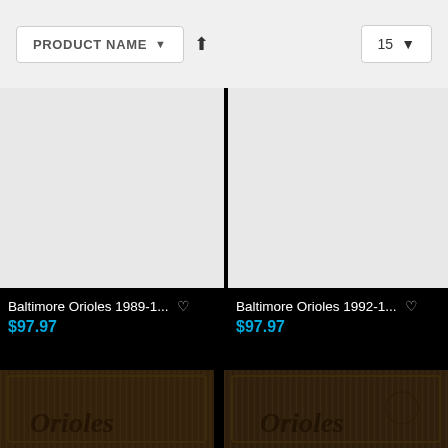PRODUCT NAME  ↑  15
[Figure (photo): Product image placeholder light gray background - Baltimore Orioles 1989-1...]
[Figure (photo): Product image placeholder light gray background - Baltimore Orioles 1992-1...]
Baltimore Orioles 1989-1... ♡
$97.97
Baltimore Orioles 1992-1... ♡
$97.97
[Figure (photo): Dark wood framed Baltimore Orioles product - bottom left]
[Figure (photo): Dark wood framed Baltimore Orioles product - bottom right]